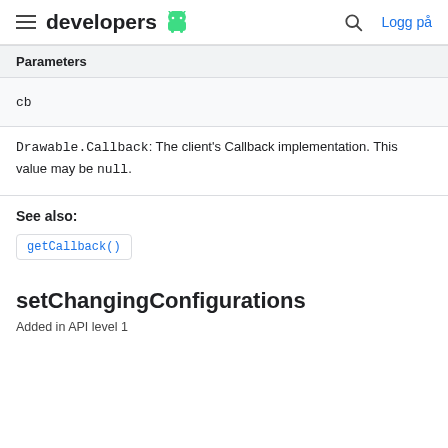developers (Android logo) | Search | Logg på
| Parameters |
| --- |
| cb |
Drawable.Callback: The client's Callback implementation. This value may be null.
See also:
getCallback()
setChangingConfigurations
Added in API level 1